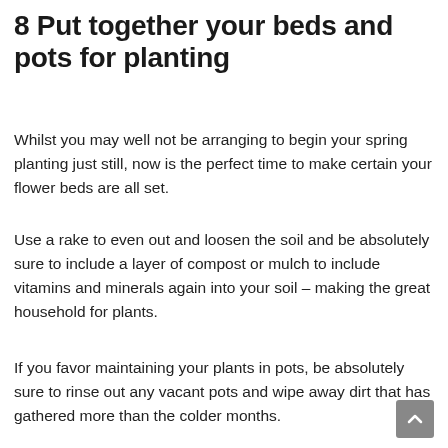8 Put together your beds and pots for planting
Whilst you may well not be arranging to begin your spring planting just still, now is the perfect time to make certain your flower beds are all set.
Use a rake to even out and loosen the soil and be absolutely sure to include a layer of compost or mulch to include vitamins and minerals again into your soil – making the great household for plants.
If you favor maintaining your plants in pots, be absolutely sure to rinse out any vacant pots and wipe away dirt that has gathered more than the colder months.